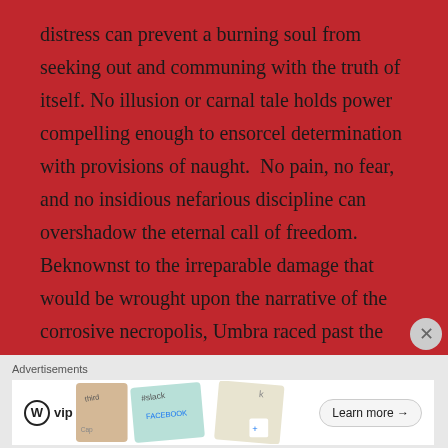distress can prevent a burning soul from seeking out and communing with the truth of itself. No illusion or carnal tale holds power compelling enough to ensorcel determination with provisions of naught.  No pain, no fear, and no insidious nefarious discipline can overshadow the eternal call of freedom. Beknownst to the irreparable damage that would be wrought upon the narrative of the corrosive necropolis, Umbra raced past the known fences of self-containing brittleness into the remote and nameless lands beyond. The
Advertisements
[Figure (other): Advertisement banner with WordPress VIP logo on left, colorful card mosaic in the middle, and a 'Learn more →' button on the right.]